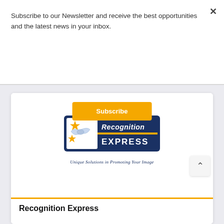Subscribe to our Newsletter and receive the best opportunities and the latest news in your inbox.
Subscribe
[Figure (logo): Recognition Express logo with handshake and gold star on navy blue background, tagline: Unique Solutions in Promoting Your Image]
Recognition Express